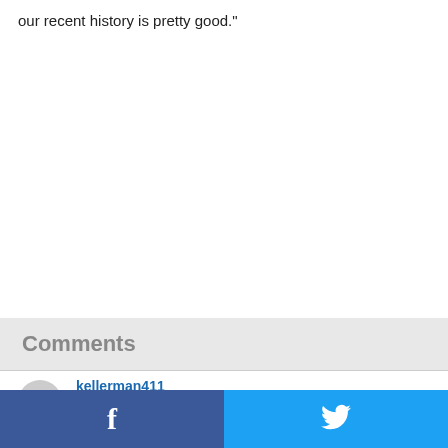our recent history is pretty good."
Comments
kellerman411
Who let Doug Gottlieb in AFH? He is the absolute